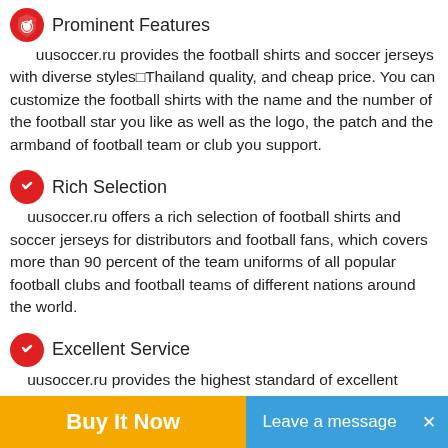Prominent Features
uusoccer.ru provides the football shirts and soccer jerseys with diverse styles□Thailand quality, and cheap price. You can customize the football shirts with the name and the number of the football star you like as well as the logo, the patch and the armband of football team or club you support.
Rich Selection
uusoccer.ru offers a rich selection of football shirts and soccer jerseys for distributors and football fans, which covers more than 90 percent of the team uniforms of all popular football clubs and football teams of different nations around the world.
Excellent Service
uusoccer.ru provides the highest standard of excellent services for the clients, which include high products qualification rate, global free shipping, fast product delivery